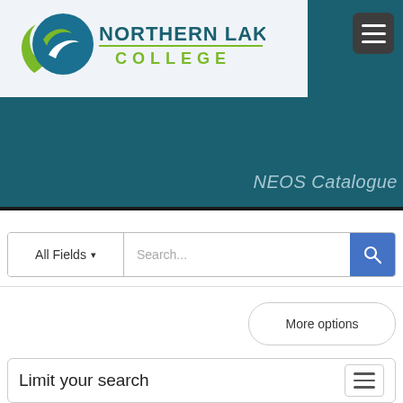[Figure (logo): Northern Lakes College logo with green and blue swirl emblem and college name in teal and green text]
NEOS Catalogue
All Fields ▾
Search...
More options
Limit your search